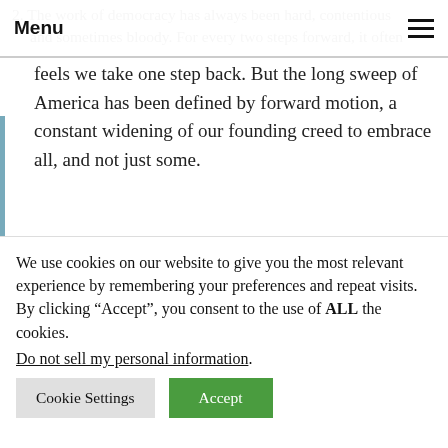Menu
2. The work of democracy has always been hard, contentious and sometimes bloody. For every two steps forward, it often feels we take one step back. But the long sweep of America has been defined by forward motion, a constant widening of our founding creed to embrace all, and not just some.
3. Russia or China cannot match our (American) influence around the world unless we give up what we stand for.
4. I reject discrimination against Muslim Americans. America wasn't weakened by the presence of newcomers; they embraced this nation's creed and it was strengthened
5. No foreign terrorist organization has managed to carry out...
We use cookies on our website to give you the most relevant experience by remembering your preferences and repeat visits. By clicking “Accept”, you consent to the use of ALL the cookies.
Do not sell my personal information.